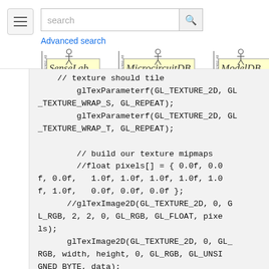[Figure (screenshot): Top navigation bar with hamburger menu icon, search input field with search button, Advanced search link, and three logos: SenseLab, MicrocircuitDB, ModelDB]
// texture should tile
        glTexParameterf(GL_TEXTURE_2D, GL_TEXTURE_WRAP_S, GL_REPEAT);
        glTexParameterf(GL_TEXTURE_2D, GL_TEXTURE_WRAP_T, GL_REPEAT);

        // build our texture mipmaps
        //float pixels[] = { 0.0f, 0.0f, 0.0f,   1.0f, 1.0f, 1.0f, 1.0f, 1.0f,   0.0f, 0.0f, 0.0f };
        //glTexImage2D(GL_TEXTURE_2D, 0, GL_RGB, 2, 2, 0, GL_RGB, GL_FLOAT, pixels);
        glTexImage2D(GL_TEXTURE_2D, 0, GL_RGB, width, height, 0, GL_RGB, GL_UNSIGNED_BYTE, data);

        // gluBuild2DMipmaps(GL_TEXTURE_2D, GL_RGB, width, height, GL_RGB, GL_UNSIGNED_BYTE, data);